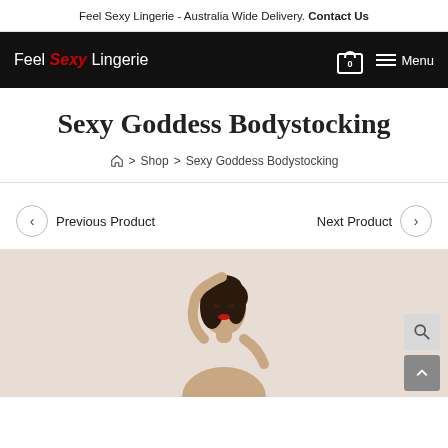Feel Sexy Lingerie - Australia Wide Delivery. Contact Us
[Figure (logo): Feel Sexy Lingerie logo in white text on black navigation bar with red italic 'Sexy' text]
Sexy Goddess Bodystocking
Home > Shop > Sexy Goddess Bodystocking
< Previous Product    Next Product >
[Figure (photo): Woman with dark hair and red lips wearing a bodystocking, arm raised above head]